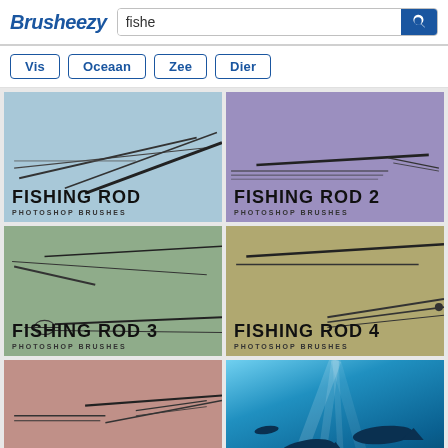Brusheezy — fishe (search)
Vis
Oceaan
Zee
Dier
[Figure (screenshot): Grid of Brusheezy search results showing Fishing Rod 1-5 Photoshop Brushes and School of Fish Brush thumbnail]
FISHING ROD — PHOTOSHOP BRUSHES
FISHING ROD 2 — PHOTOSHOP BRUSHES
FISHING ROD 3 — PHOTOSHOP BRUSHES
FISHING ROD 4 — PHOTOSHOP BRUSHES
FISHING ROD 5 — PHOTOSHOP BRUSHES
SCHOOL OF FISH BRUSH